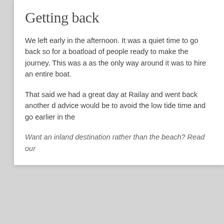Getting back
We left early in the afternoon. It was a quiet time to go back so for a boatload of people ready to make the journey. This was a as the only way around it was to hire an entire boat.
That said we had a great day at Railay and went back another d advice would be to avoid the low tide time and go earlier in the
Want an inland destination rather than the beach? Read our